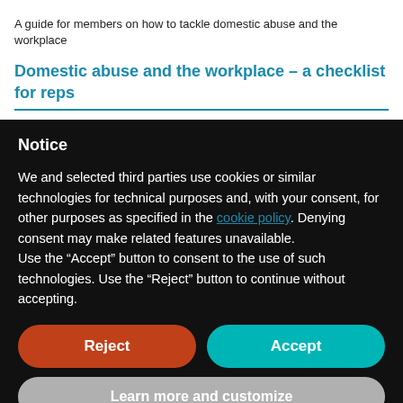A guide for members on how to tackle domestic abuse and the workplace
Domestic abuse and the workplace – a checklist for reps
Notice
We and selected third parties use cookies or similar technologies for technical purposes and, with your consent, for other purposes as specified in the cookie policy. Denying consent may make related features unavailable.
Use the "Accept" button to consent to the use of such technologies. Use the "Reject" button to continue without accepting.
Reject
Accept
Learn more and customize